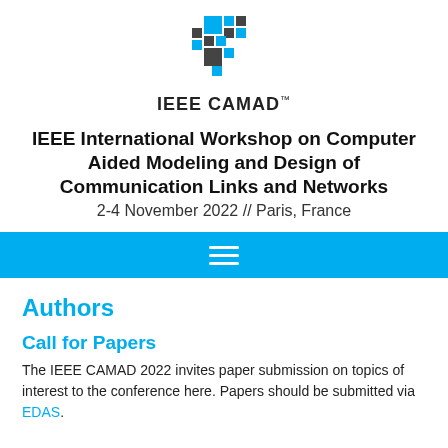[Figure (logo): IEEE CAMAD logo — blue and dark grey pixel/square pattern above the text IEEE CAMAD™]
IEEE International Workshop on Computer Aided Modeling and Design of Communication Links and Networks
2-4 November 2022 // Paris, France
Authors
Call for Papers
The IEEE CAMAD 2022 invites paper submission on topics of interest to the conference here. Papers should be submitted via EDAS.